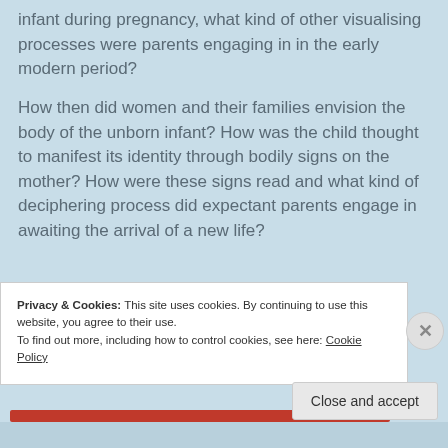infant during pregnancy, what kind of other visualising processes were parents engaging in in the early modern period?
How then did women and their families envision the body of the unborn infant? How was the child thought to manifest its identity through bodily signs on the mother? How were these signs read and what kind of deciphering process did expectant parents engage in awaiting the arrival of a new life?
Privacy & Cookies: This site uses cookies. By continuing to use this website, you agree to their use.
To find out more, including how to control cookies, see here: Cookie Policy
Close and accept